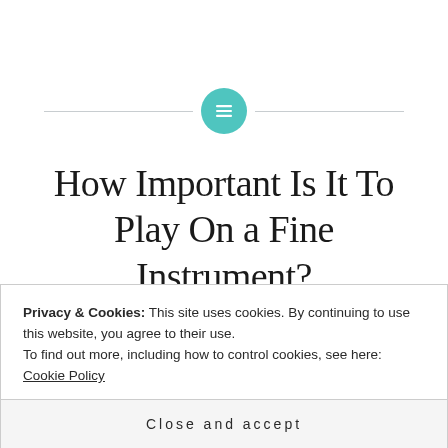[Figure (illustration): Teal circular icon with white menu/lines symbol, flanked by horizontal divider lines on both sides]
How Important Is It To Play On a Fine Instrument?
Posted by JONATHAN HARNUM
Privacy & Cookies: This site uses cookies. By continuing to use this website, you agree to their use.
To find out more, including how to control cookies, see here: Cookie Policy
Close and accept